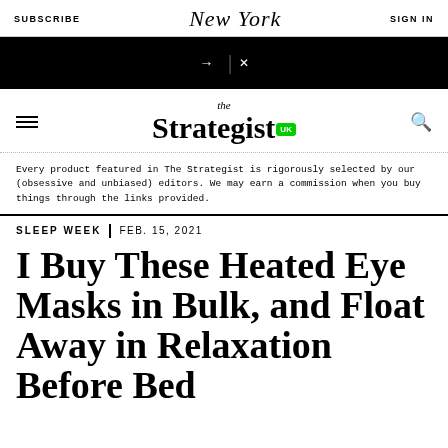SUBSCRIBE | New York | SIGN IN
[Figure (other): Black advertisement banner with arrow, divider, and close button]
the Strategist UK
Every product featured in The Strategist is rigorously selected by our (obsessive and unbiased) editors. We may earn a commission when you buy things through the links provided.
SLEEP WEEK | FEB. 15, 2021
I Buy These Heated Eye Masks in Bulk, and Float Away in Relaxation Before Bed